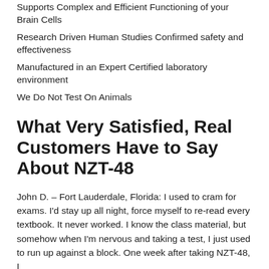Supports Complex and Efficient Functioning of your Brain Cells
Research Driven Human Studies Confirmed safety and effectiveness
Manufactured in an Expert Certified laboratory environment
We Do Not Test On Animals
What Very Satisfied, Real Customers Have to Say About NZT-48
John D. – Fort Lauderdale, Florida: I used to cram for exams. I'd stay up all night, force myself to re-read every textbook. It never worked. I know the class material, but somehow when I'm nervous and taking a test, I just used to run up against a block. One week after taking NZT-48, I